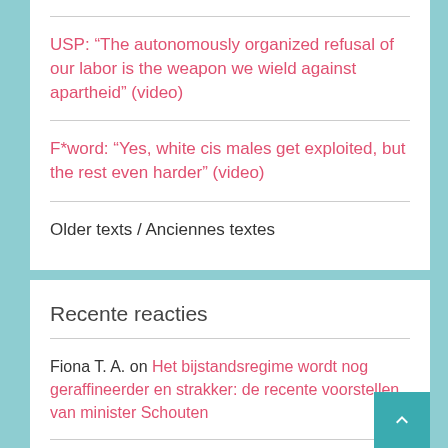USP: “The autonomously organized refusal of our labor is the weapon we wield against apartheid” (video)
F*word: “Yes, white cis males get exploited, but the rest even harder” (video)
Older texts / Anciennes textes
Recente reacties
Fiona T. A. on Het bijstandsregime wordt nog geraffineerder en strakker: de recente voorstellen van minister Schouten
Ender Kaya on Aanvallen op alevitische instellingen in Turkije